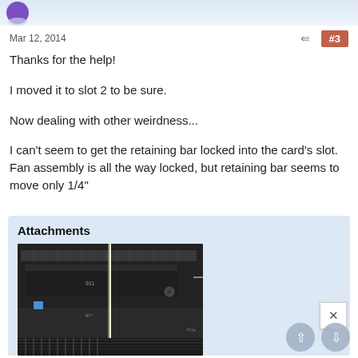Mar 12, 2014  #3
Thanks for the help!
I moved it to slot 2 to be sure.
Now dealing with other weirdness...
I can't seem to get the retaining bar locked into the card's slot. Fan assembly is all the way locked, but retaining bar seems to move only 1/4"
Attachments
[Figure (photo): Photo of computer motherboard/PCIe slot area showing graphics card installation, dark hardware components visible with a bright vertical light streak]